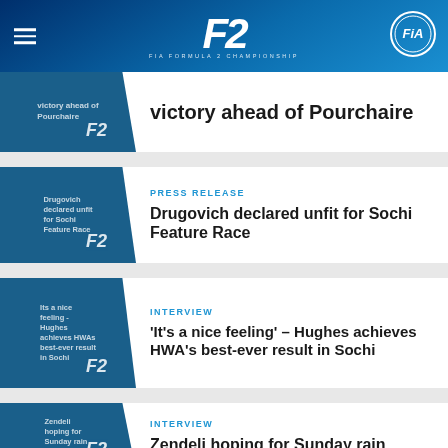F2 FIA FORMULA 2 CHAMPIONSHIP
victory ahead of Pourchaire
PRESS RELEASE
Drugovich declared unfit for Sochi Feature Race
INTERVIEW
'It's a nice feeling' – Hughes achieves HWA's best-ever result in Sochi
INTERVIEW
Zendeli hoping for Sunday rain